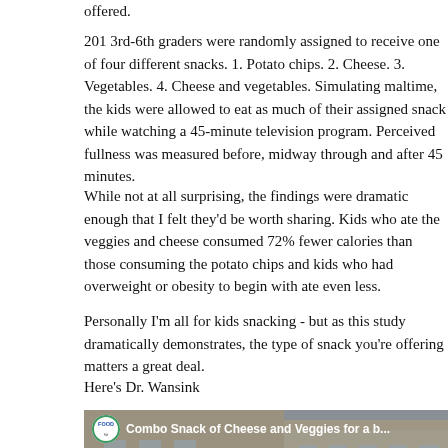offered.
201 3rd-6th graders were randomly assigned to receive one of four different snacks. 1. Potato chips. 2. Cheese. 3. Vegetables. 4. Cheese and vegetables. Simulating mealtime, the kids were allowed to eat as much of their assigned snack while watching a 45-minute television program. Perceived fullness was measured before, midway through and after 45 minutes.
While not at all surprising, the findings were dramatic enough that I felt they'd be worth sharing. Kids who ate the veggies and cheese consumed 72% fewer calories than those consuming the potato chips and kids who had overweight or obesity to begin with ate even less.
Personally I'm all for kids snacking - but as this study dramatically demonstrates, the type of snack you're offering matters a great deal.
Here's Dr. Wansink
[Figure (screenshot): YouTube video thumbnail showing a building exterior with bare trees, a person visible, and a YouTube play button. Overlay shows FOOD logo badge and title 'Combo Snack of Cheese and Veggies for a b...']